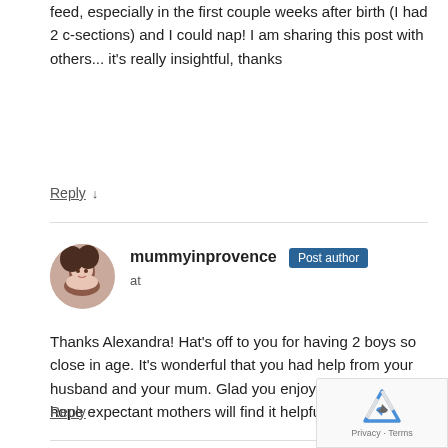feed, especially in the first couple weeks after birth (I had 2 c-sections) and I could nap! I am sharing this post with others... it's really insightful, thanks
Reply ↓
mummyinprovence Post author at
Thanks Alexandra! Hat's off to you for having 2 boys so close in age. It's wonderful that you had help from your husband and your mum. Glad you enjoyed the post! I hope expectant mothers will find it helpful too !
Reply ↓